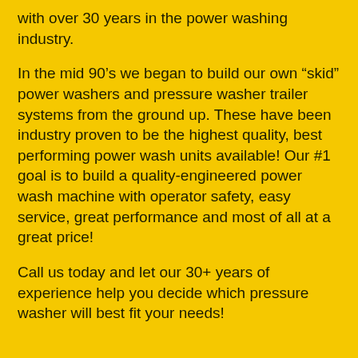with over 30 years in the power washing industry.
In the mid 90’s we began to build our own “skid” power washers and pressure washer trailer systems from the ground up. These have been industry proven to be the highest quality, best performing power wash units available! Our #1 goal is to build a quality-engineered power wash machine with operator safety, easy service, great performance and most of all at a great price!
Call us today and let our 30+ years of experience help you decide which pressure washer will best fit your needs!